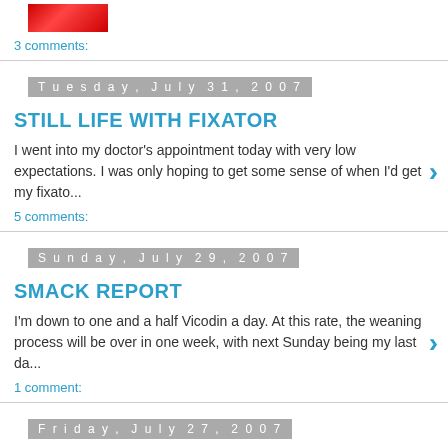[Figure (photo): Small thumbnail image in red tones at top]
3 comments:
Tuesday, July 31, 2007
STILL LIFE WITH FIXATOR
I went into my doctor's appointment today with very low expectations. I was only hoping to get some sense of when I'd get my fixato...
5 comments:
Sunday, July 29, 2007
SMACK REPORT
I'm down to one and a half Vicodin a day. At this rate, the weaning process will be over in one week, with next Sunday being my last da...
1 comment:
Friday, July 27, 2007
THE MINORS
[Figure (photo): Small thumbnail image in dark tones]
Most of the major concerns I had going into this